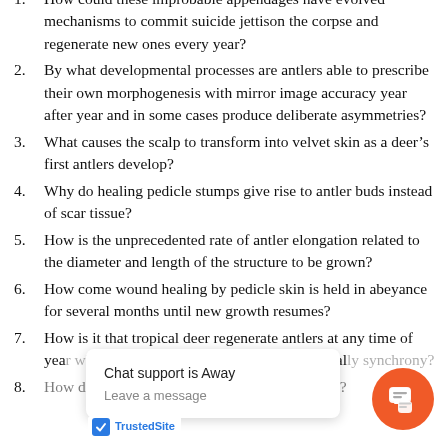1. How could these improbable appendages have evolved mechanisms to commit suicide jettison the corpse and regenerate new ones every year?
2. By what developmental processes are antlers able to prescribe their own morphogenesis with mirror image accuracy year after year and in some cases produce deliberate asymmetries?
3. What causes the scalp to transform into velvet skin as a deer’s first antlers develop?
4. Why do healing pedicle stumps give rise to antler buds instead of scar tissue?
5. How is the unprecedented rate of antler elongation related to the diameter and length of the structure to be grown?
6. How come wound healing by pedicle skin is held in abeyance for several months until new growth resumes?
7. How is it that tropical deer regenerate antlers at any time of year while temperate zone deer do so in seasonal synchrony?
8. How do deer regrow antlers in only a few months?